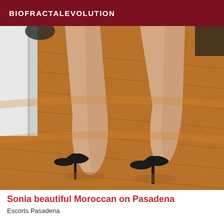BIOFRACTALEVOLUTION
[Figure (photo): A person's legs from mid-thigh down, wearing black high heel shoes, standing on a wooden floor with a white wall/door in the background. The photo is taken from behind showing the back of the legs.]
Sonia beautiful Moroccan on Pasadena
Escorts Pasadena